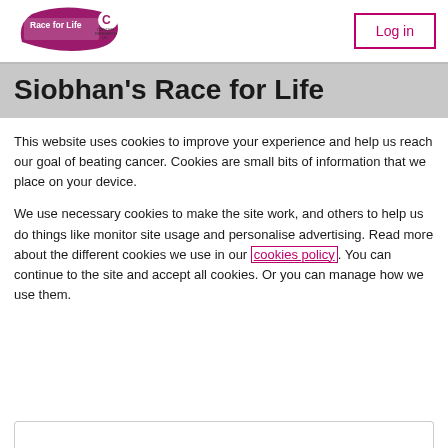[Figure (logo): Race for Life ribbon logo with Cancer Research UK text]
[Figure (other): Log in button with pink border]
Siobhan's Race for Life
This website uses cookies to improve your experience and help us reach our goal of beating cancer. Cookies are small bits of information that we place on your device.
We use necessary cookies to make the site work, and others to help us do things like monitor site usage and personalise advertising. Read more about the different cookies we use in our cookies policy. You can continue to the site and accept all cookies. Or you can manage how we use them.